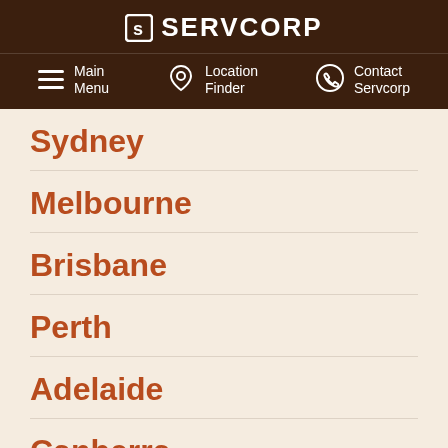SERVCORP
Main Menu | Location Finder | Contact Servcorp
Sydney
Melbourne
Brisbane
Perth
Adelaide
Canberra
Hobart